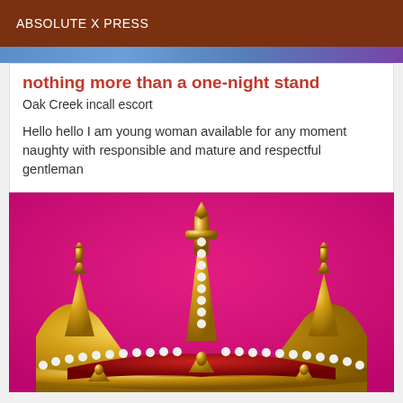ABSOLUTE X PRESS
nothing more than a one-night stand
Oak Creek incall escort
Hello hello I am young woman available for any moment naughty with responsible and mature and respectful gentleman
[Figure (photo): A decorative royal crown with gold metalwork, red velvet interior, and white pearl trim, on a pink/magenta background.]